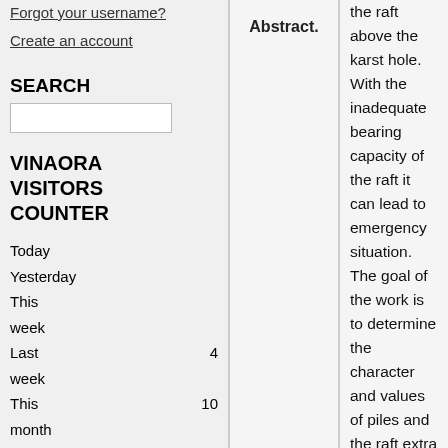Forgot your username?
Create an account
SEARCH
VINAORA VISITORS COUNTER
Today
Yesterday
This week
Last week
This month
4
10
Abstract.
the raft above the karst hole. With the inadequate bearing capacity of the raft it can lead to emergency situation. The goal of the work is to determine the character and values of piles and the raft extra loads when karst hole formes. For this purpose, the numerical modeling is performed in the geotechnical program MIDAS GTS. The foundation soil is clay soil of very soft and soft consistency. By results of numerical investigations by means of approximation of pressures obtained, pile horizontal pressures are determined. In dependence on soil